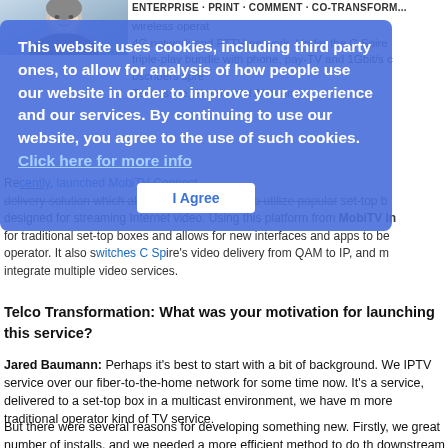[Figure (photo): Partial photo of a person in the top-left corner, partially obscured by the cookie consent overlay]
This website uses cookies, including third party ones, to allow for analysis of how people use our website in order to improve your experience and our services. By continuing to use our website, you agree to the use of such cookies. Click here for more info [I Agree button]
4G network and FTTH network. Under the C Spire triple-play bundle with phone, pay-TV and 1Gbit/s subscribers spread Tennessee, Florida and Alabama.
Recently, launched MobiTV Connect delivery solution which allows cable operators to utilize popular set-top boxes designed for streaming Internet video. Using this platform from MobiTV Inc, for traditional set-top boxes and allows for new interfaces and apps to be operator. It also switches C Spire's video delivery from QAM to IP, and must integrate multiple video services.
Telco Transformation: What was your motivation for launching this service?
Jared Baumann: Perhaps it's best to start with a bit of background. We IPTV service over our fiber-to-the-home network for some time now. It's a service, delivered to a set-top box in a multicast environment, we have more traditional operator kind of TV service.
But there were several reasons for developing something new. Firstly, we great number of installs, and we needed a more efficient method to do the downstream broadband service, and in order to deliver high quality of excellent service, we needed Ethernet cabling. But Ethernet is not in place, so we